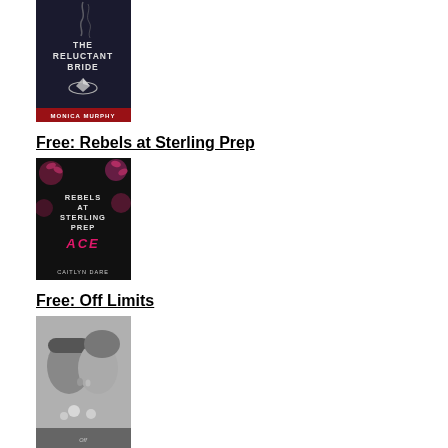[Figure (photo): Book cover for 'The Reluctant Bride' by Monica Murphy — dark background with a diamond ring and smoke]
Free: Rebels at Sterling Prep
[Figure (photo): Book cover for 'Rebels at Sterling Prep – Ace' by Caitlyn Dare — dark floral background with pink title text]
Free: Off Limits
[Figure (photo): Book cover for 'Off Limits' — black and white photo of a couple about to kiss]